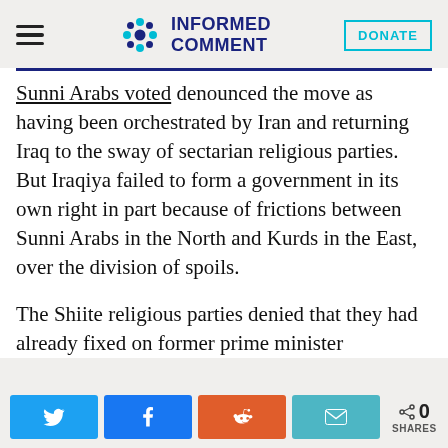INFORMED COMMENT
Sunni Arabs voted denounced the move as having been orchestrated by Iran and returning Iraq to the sway of sectarian religious parties. But Iraqiya failed to form a government in its own right in part because of frictions between Sunni Arabs in the North and Kurds in the East, over the division of spoils.
The Shiite religious parties denied that they had already fixed on former prime minister
0 SHARES